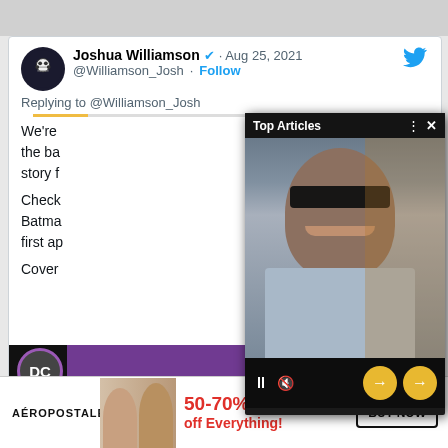[Figure (screenshot): Screenshot of a tweet by Joshua Williamson (@Williamson_Josh) dated Aug 25, 2021, with a video overlay popup labeled 'Top Articles' showing a man in sunglasses and a blue suit. The tweet text (partially obscured) discusses a Batman story. Below the tweet is an Aéropostale ad banner offering 50-70% off Everything with a Buy Now button.]
Joshua Williamson · Aug 25, 2021
@Williamson_Josh · Follow
Replying to @Williamson_Josh
We're [obscured] the ba[obscured] story f[obscured]
Check[obscured] Batma[obscured] first ap[obscured]
Cover[obscured]
[Figure (screenshot): Video overlay labeled 'Top Articles' with a photo of a man in sunglasses and blue suit, with playback controls, mute icon, and navigation arrows]
[Figure (logo): DC Comics circular logo in purple]
AÉROPOSTALE    50-70% off Everything!    BUY NOW